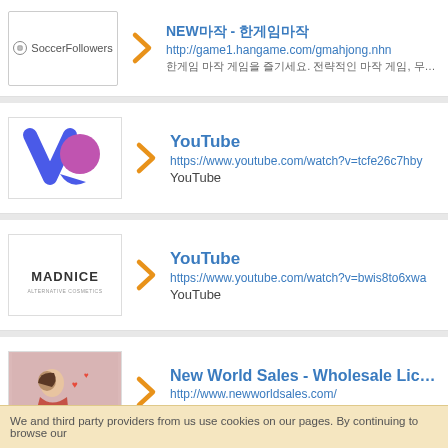NEW마작 - 한게임마작
http://game1.hangame.com/gmahjong.nhn
한게임 마작 게임을 즐기세요. 전략적인 마작 게임, 무료로 즐길 수 있는 마작 게임 1, 한 판의 마작 게임을 시작해보세요! 지금 바로 시작해 볼 수 있습니다 마작게임! 마작 게
YouTube
https://www.youtube.com/watch?v=tcfe26c7hby
YouTube
YouTube
https://www.youtube.com/watch?v=bwis8to6xwa
YouTube
New World Sales - Wholesale Licensed T-Shi
http://www.newworldsales.com/
2019. 7. 17. · USA. A sales and service organization specializa
We and third party providers from us use cookies on our pages. By continuing to browse our